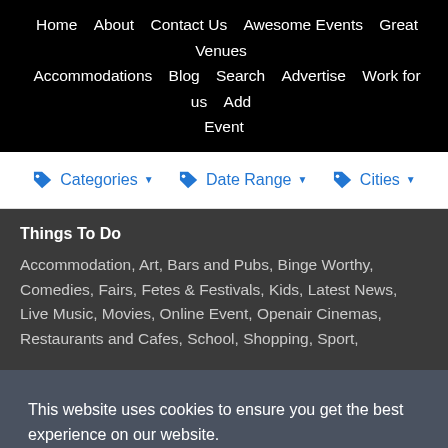Home   About   Contact Us   Awesome Events   Great Venues   Accommodations   Blog   Search   Advertise   Work for us   Add Event
Categories ▾
Date Range ▾
Cities ▾
Things To Do
Accommodation, Art, Bars and Pubs, Binge Worthy, Comedies, Fairs, Fetes & Festivals, Kids, Latest News, Live Music, Movies, Online Event, Openair Cinemas, Restaurants and Cafes, School, Shopping, Sport,
This website uses cookies to ensure you get the best experience on our website.
Got it!